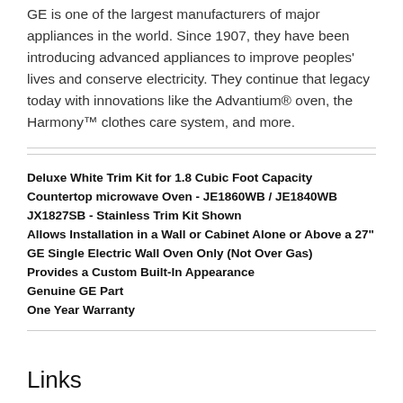GE is one of the largest manufacturers of major appliances in the world. Since 1907, they have been introducing advanced appliances to improve peoples' lives and conserve electricity. They continue that legacy today with innovations like the Advantium® oven, the Harmony™ clothes care system, and more.
Deluxe White Trim Kit for 1.8 Cubic Foot Capacity Countertop microwave Oven - JE1860WB / JE1840WB
JX1827SB - Stainless Trim Kit Shown
Allows Installation in a Wall or Cabinet Alone or Above a 27" GE Single Electric Wall Oven Only (Not Over Gas)
Provides a Custom Built-In Appearance
Genuine GE Part
One Year Warranty
Links